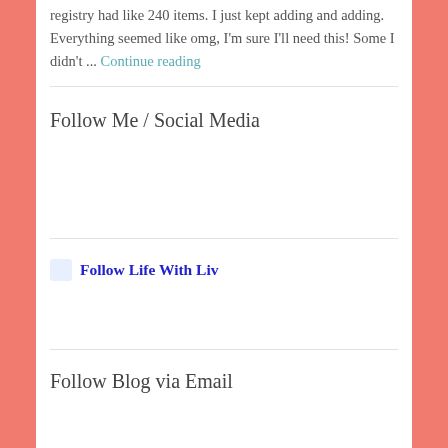registry had like 240 items.  I just kept adding and adding.  Everything seemed like omg, I'm sure I'll need this!  Some I didn't ... Continue reading
Follow Me / Social Media
Follow Life With Liv
Follow Blog via Email